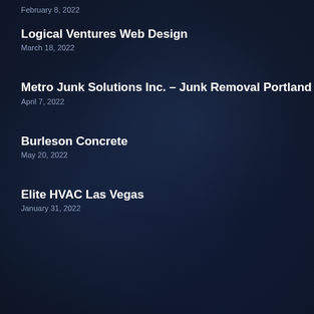February 8, 2022
Logical Ventures Web Design
March 18, 2022
Metro Junk Solutions Inc. – Junk Removal Portland
April 7, 2022
Burleson Concrete
May 20, 2022
Elite HVAC Las Vegas
January 31, 2022